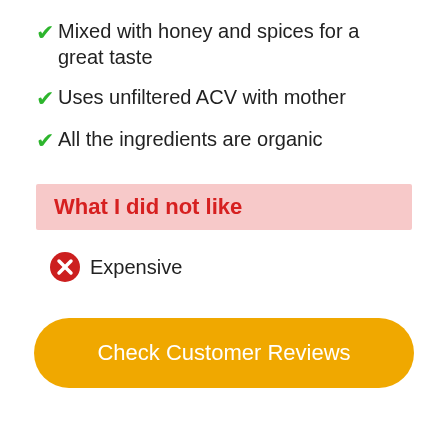Mixed with honey and spices for a great taste
Uses unfiltered ACV with mother
All the ingredients are organic
What I did not like
Expensive
Check Customer Reviews